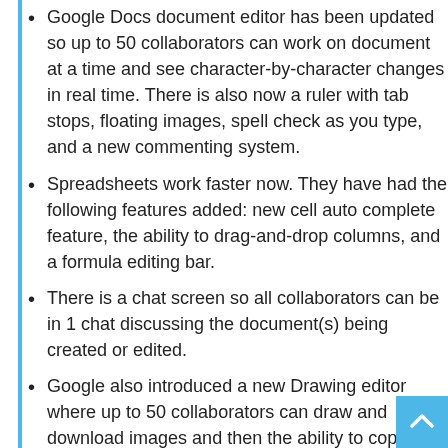Google Docs document editor has been updated so up to 50 collaborators can work on document at a time and see character-by-character changes in real time. There is also now a ruler with tab stops, floating images, spell check as you type, and a new commenting system.
Spreadsheets work faster now. They have had the following features added: new cell auto complete feature, the ability to drag-and-drop columns, and a formula editing bar.
There is a chat screen so all collaborators can be in 1 chat discussing the document(s) being created or edited.
Google also introduced a new Drawing editor where up to 50 collaborators can draw and download images and then the ability to copy and paste them into other Google Docs or they can be published to the web. Images created with the Drawing editor